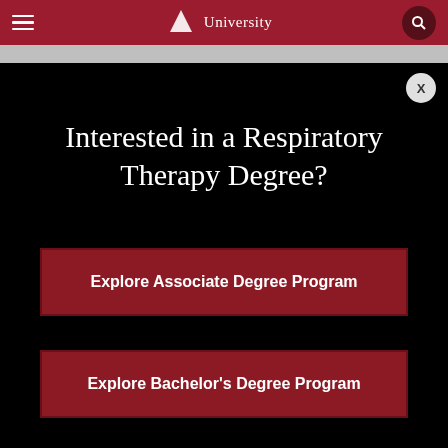University
Interested in a Respiratory Therapy Degree?
Explore Associate Degree Program
Explore Bachelor's Degree Program